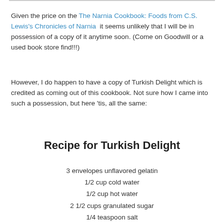Given the price on the The Narnia Cookbook: Foods from C.S. Lewis's Chronicles of Narnia it seems unlikely that I will be in possession of a copy of it anytime soon. (Come on Goodwill or a used book store find!!!)
However, I do happen to have a copy of Turkish Delight which is credited as coming out of this cookbook. Not sure how I came into such a possession, but here 'tis, all the same:
Recipe for Turkish Delight
3 envelopes unflavored gelatin
1/2 cup cold water
1/2 cup hot water
2 1/2 cups granulated sugar
1/4 teaspoon salt
3 tablespoons lemon juice